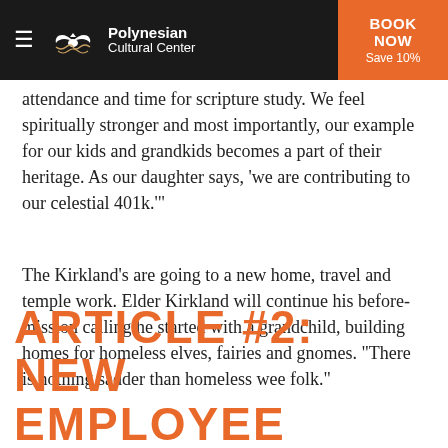Polynesian Cultural Center — BOOK NOW Save 10%
attendance and time for scripture study. We feel spiritually stronger and most importantly, our example for our kids and grandkids becomes a part of their heritage. As our daughter says, 'we are contributing to our celestial 401k.'"
The Kirkland’s are going to a new home, travel and temple work. Elder Kirkland will continue his before-mission calling he started with a grandchild, building homes for homeless elves, fairies and gnomes. “There is nothing sadder than homeless wee folk.”
ARTICLE #2:  NEW EMPLOYEE